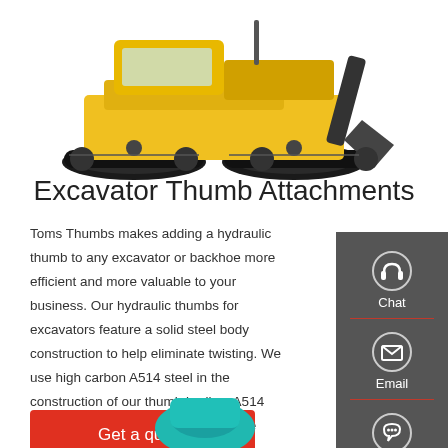[Figure (photo): Yellow tracked excavator/bulldozer machine shown from the side, partially visible at top of page]
Excavator Thumb Attachments
Toms Thumbs makes adding a hydraulic thumb to any excavator or backhoe more efficient and more valuable to your business. Our hydraulic thumbs for excavators feature a solid steel body construction to help eliminate twisting. We use high carbon A514 steel in the construction of our thumb bodies. A514 (also known as T-1) has a high tensile
[Figure (infographic): Dark grey sidebar widget with Chat (headphone icon), Email (envelope icon), and Contact (speech bubble icon) buttons]
[Figure (photo): Teal/turquoise colored attachment or thumb piece partially visible at bottom of page]
Get a quote